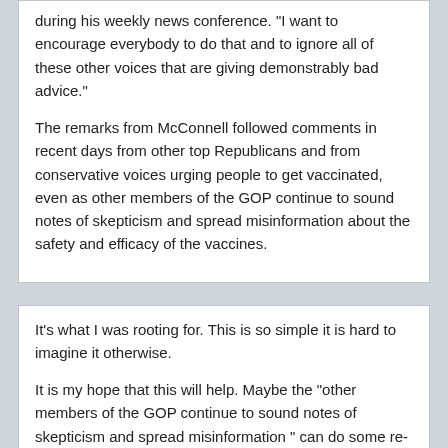during his weekly news conference. "I want to encourage everybody to do that and to ignore all of these other voices that are giving demonstrably bad advice."

The remarks from McConnell followed comments in recent days from other top Republicans and from conservative voices urging people to get vaccinated, even as other members of the GOP continue to sound notes of skepticism and spread misinformation about the safety and efficacy of the vaccines.
It's what I was rooting for. This is so simple it is hard to imagine it otherwise.

It is my hope that this will help. Maybe the "other members of the GOP continue to sound notes of skepticism and spread misinformation " can do some re-thinking also. It would be really good if they did. C'mon guys. It's time.
pilowsky
2021-July-20, 19:26